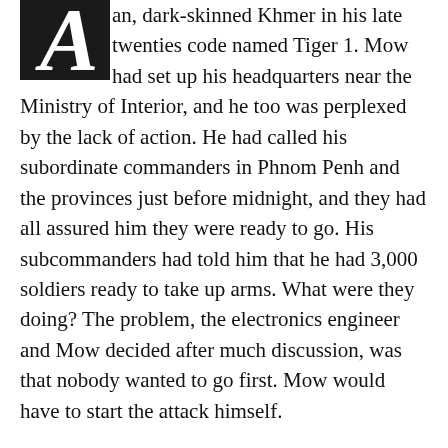an, dark-skinned Khmer in his late twenties code named Tiger 1. Mow had set up his headquarters near the Ministry of Interior, and he too was perplexed by the lack of action. He had called his subordinate commanders in Phnom Penh and the provinces just before midnight, and they had all assured him they were ready to go. His subcommanders had told him that he had 3,000 soldiers ready to take up arms. What were they doing? The problem, the electronics engineer and Mow decided after much discussion, was that nobody wanted to go first. Mow would have to start the attack himself.
Mow proceeded to a vast encampment of homeless squatters in the rail yards behind Phnom Penh's Art Deco railway station, the hiding place for a contingent of between 50 and 100 men who had agreed to join the attack. The sun's first rays and